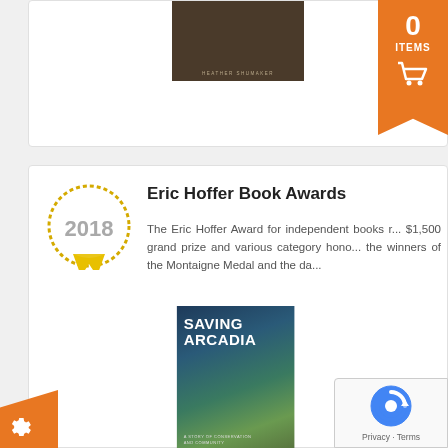[Figure (screenshot): Partially visible book cover with dark brown background and author name at bottom, top of page]
[Figure (infographic): Orange ribbon/banner cart badge showing '0 ITEMS' with shopping cart icon in top right corner]
[Figure (illustration): 2018 award badge with gold/yellow ribbon rosette]
Eric Hoffer Book Awards
The Eric Hoffer Award for independent books r... $1,500 grand prize and various category hono... the winners of the Montaigne Medal and the da...
[Figure (photo): Book cover of 'Saving Arcadia: A Story of Conservation and Community in the Great Lakes' by Heather Shumaker]
[Figure (logo): reCAPTCHA badge with spinning arrow logo and Privacy/Terms links]